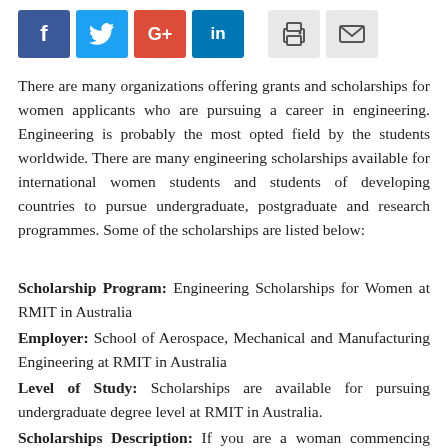[Figure (other): Social media share buttons: Facebook (blue), Twitter (light blue), Google+ (red), LinkedIn (blue), and two icon buttons for print and email (grey)]
There are many organizations offering grants and scholarships for women applicants who are pursuing a career in engineering. Engineering is probably the most opted field by the students worldwide. There are many engineering scholarships available for international women students and students of developing countries to pursue undergraduate, postgraduate and research programmes. Some of the scholarships are listed below:
Scholarship Program: Engineering Scholarships for Women at RMIT in Australia
Employer: School of Aerospace, Mechanical and Manufacturing Engineering at RMIT in Australia
Level of Study: Scholarships are available for pursuing undergraduate degree level at RMIT in Australia.
Scholarships Description: If you are a woman commencing engineering studies in 2014 in the School of